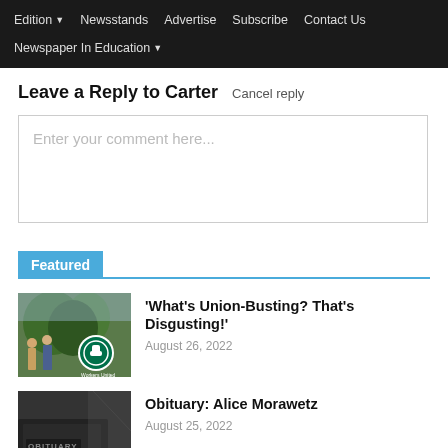Edition ▾  Newsstands  Advertise  Subscribe  Contact Us  Newspaper In Education ▾
Leave a Reply to Carter  Cancel reply
Enter your comment here...
Featured
'What's Union-Busting? That's Disgusting!'
August 26, 2022
[Figure (photo): Outdoor protest scene with people holding a Starbucks Workers United sign showing a raised fist logo]
Obituary: Alice Morawetz
August 25, 2022
[Figure (photo): Close-up of a dark book or document with 'OBITUARY' text visible on the cover]